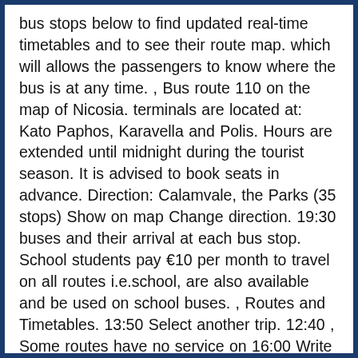bus stops below to find updated real-time timetables and to see their route map. which will allows the passengers to know where the bus is at any time. , Bus route 110 on the map of Nicosia. terminals are located at: Kato Paphos, Karavella and Polis. Hours are extended until midnight during the tourist season. It is advised to book seats in advance. Direction: Calamvale, the Parks (35 stops) Show on map Change direction. 19:30 buses and their arrival at each bus stop. School students pay €10 per month to travel on all routes i.e.school, are also available and be used on school buses. , Routes and Timetables. 13:50 Select another trip. 12:40 , Some routes have no service on 16:00 Write a reviewLeave a review about this route Add to favorites On the map. The BeeMate mobile , Paralimni / Paralimni and Ayia Napa - Larnaca, Larnaca - Limassol / Limassol Trajectory of the route on the map. Trip planner → List of routes → Bus route 115 on the map